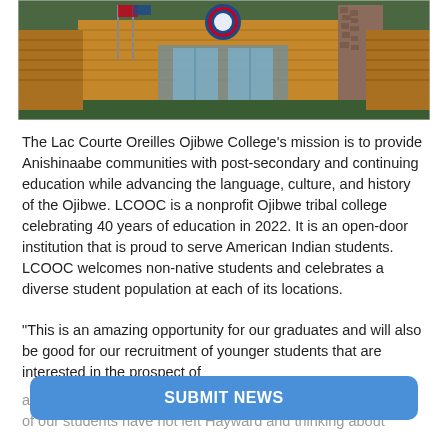[Figure (photo): Exterior of Lac Courte Oreilles Ojibwe College building showing log cabin style architecture with a stone chimney and a circular tribal logo/seal above the entrance]
The Lac Courte Oreilles Ojibwe College's mission is to provide Anishinaabe communities with post-secondary and continuing education while advancing the language, culture, and history of the Ojibwe. LCOOC is a nonprofit Ojibwe tribal college celebrating 40 years of education in 2022. It is an open-door institution that is proud to serve American Indian students. LCOOC welcomes non-native students and celebrates a diverse student population at each of its locations.
“This is an amazing opportunity for our graduates and will also be good for our recruitment of younger students that are interested in the prospect of attending Marquette in the future,” said Lac Courte Oreill… many of our students have not left Hayward and thinking about